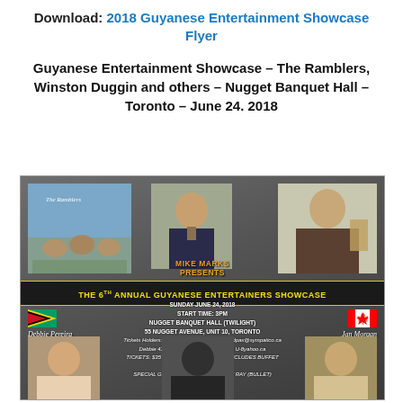Download: 2018 Guyanese Entertainment Showcase Flyer
Guyanese Entertainment Showcase – The Ramblers, Winston Duggin and others – Nugget Banquet Hall – Toronto – June 24. 2018
[Figure (photo): Promotional flyer for The 6th Annual Guyanese Entertainers Showcase featuring The Ramblers, Winston Duggin, Mike Marks Presents, Debbie Pereira, Jan Morgan. Event details: Sunday June 24, 2018, Start Time 3PM, Nugget Banquet Hall (Twilight), 55 Nugget Avenue Unit 10, Toronto. Tickets $35 ADV, $40 at the door, includes buffet. Special Guest Appearance: Jimmy Ray (Bullet).]